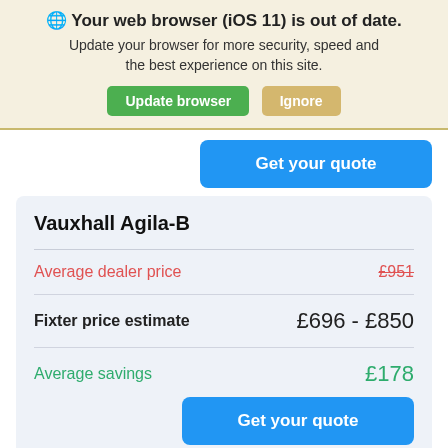🌐 Your web browser (iOS 11) is out of date. Update your browser for more security, speed and the best experience on this site.
Update browser | Ignore
Get your quote
Vauxhall Agila-B
|  |  |
| --- | --- |
| Average dealer price | £951 |
| Fixter price estimate | £696 - £850 |
| Average savings | £178 |
Get your quote